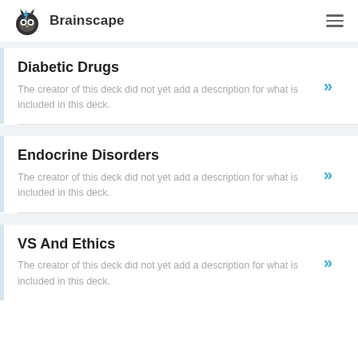[Figure (logo): Brainscape logo with owl icon and text 'Brainscape']
Diabetic Drugs
The creator of this deck did not yet add a description for what is included in this deck.
Endocrine Disorders
The creator of this deck did not yet add a description for what is included in this deck.
VS And Ethics
The creator of this deck did not yet add a description for what is included in this deck.